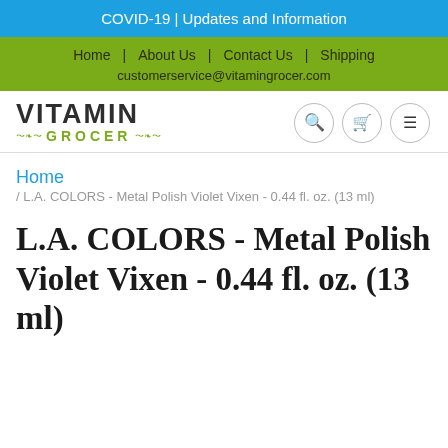COVID-19 | Updates and Information
Home | About Us | Contact Us | Shipping
customerservice@vitamingrocer.com
[Figure (logo): Vitamin Grocer logo with green 'GROCER' text and decorative swashes]
Home / L.A. COLORS - Metal Polish Violet Vixen - 0.44 fl. oz. (13 ml)
L.A. COLORS - Metal Polish Violet Vixen - 0.44 fl. oz. (13 ml)